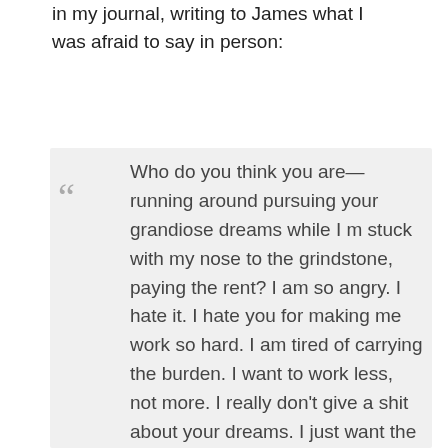in my journal, writing to James what I was afraid to say in person:
Who do you think you are—running around pursuing your grandiose dreams while I m stuck with my nose to the grindstone, paying the rent? I am so angry. I hate it. I hate you for making me work so hard. I am tired of carrying the burden. I want to work less, not more. I really don't give a shit about your dreams. I just want the pressure off of me. I want to take days off. I want